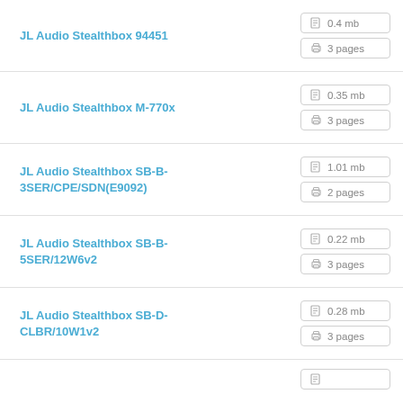JL Audio Stealthbox 94451 — 0.4 mb, 3 pages
JL Audio Stealthbox M-770x — 0.35 mb, 3 pages
JL Audio Stealthbox SB-B-3SER/CPE/SDN(E9092) — 1.01 mb, 2 pages
JL Audio Stealthbox SB-B-5SER/12W6v2 — 0.22 mb, 3 pages
JL Audio Stealthbox SB-D-CLBR/10W1v2 — 0.28 mb, 3 pages